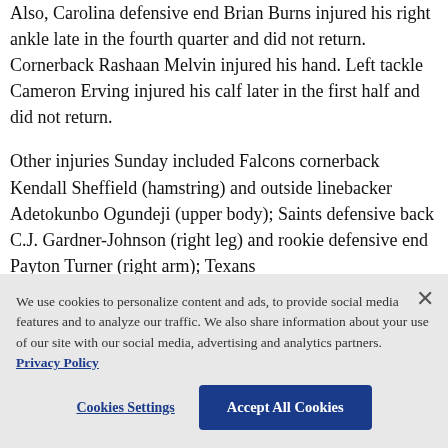Also, Carolina defensive end Brian Burns injured his right ankle late in the fourth quarter and did not return. Cornerback Rashaan Melvin injured his hand. Left tackle Cameron Erving injured his calf later in the first half and did not return.
Other injuries Sunday included Falcons cornerback Kendall Sheffield (hamstring) and outside linebacker Adetokunbo Ogundeji (upper body); Saints defensive back C.J. Gardner-Johnson (right leg) and rookie defensive end Payton Turner (right arm); Texans ...
We use cookies to personalize content and ads, to provide social media features and to analyze our traffic. We also share information about your use of our site with our social media, advertising and analytics partners. Privacy Policy